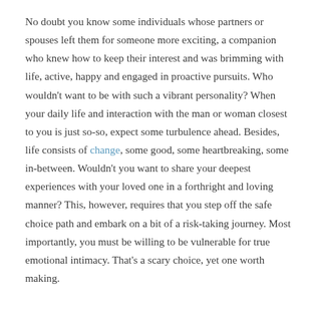No doubt you know some individuals whose partners or spouses left them for someone more exciting, a companion who knew how to keep their interest and was brimming with life, active, happy and engaged in proactive pursuits. Who wouldn't want to be with such a vibrant personality? When your daily life and interaction with the man or woman closest to you is just so-so, expect some turbulence ahead. Besides, life consists of change, some good, some heartbreaking, some in-between. Wouldn't you want to share your deepest experiences with your loved one in a forthright and loving manner? This, however, requires that you step off the safe choice path and embark on a bit of a risk-taking journey. Most importantly, you must be willing to be vulnerable for true emotional intimacy. That's a scary choice, yet one worth making.